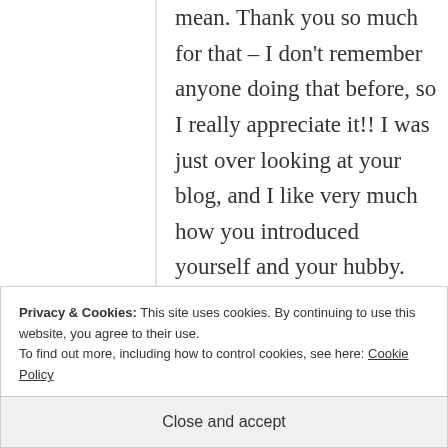mean. Thank you so much for that – I don't remember anyone doing that before, so I really appreciate it!! I was just over looking at your blog, and I like very much how you introduced yourself and your hubby. 😀
★ Like
Reply
Privacy & Cookies: This site uses cookies. By continuing to use this website, you agree to their use.
To find out more, including how to control cookies, see here: Cookie Policy
Close and accept